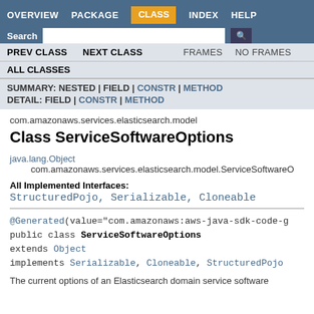OVERVIEW  PACKAGE  CLASS  INDEX  HELP  Search
PREV CLASS  NEXT CLASS  FRAMES  NO FRAMES  ALL CLASSES
SUMMARY: NESTED | FIELD | CONSTR | METHOD  DETAIL: FIELD | CONSTR | METHOD
com.amazonaws.services.elasticsearch.model
Class ServiceSoftwareOptions
java.lang.Object
    com.amazonaws.services.elasticsearch.model.ServiceSoftwareOptions
All Implemented Interfaces:
StructuredPojo, Serializable, Cloneable
@Generated(value="com.amazonaws:aws-java-sdk-code-g
public class ServiceSoftwareOptions
extends Object
implements Serializable, Cloneable, StructuredPojo
The current options of an Elasticsearch domain service software